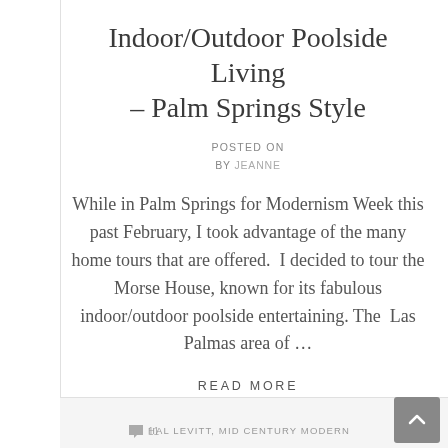Indoor/Outdoor Poolside Living – Palm Springs Style
POSTED ON
BY JEANNE
While in Palm Springs for Modernism Week this past February, I took advantage of the many home tours that are offered.  I decided to tour the Morse House, known for its fabulous indoor/outdoor poolside entertaining. The  Las Palmas area of …
READ MORE
11   HAL LEVITT, MID CENTURY MODERN